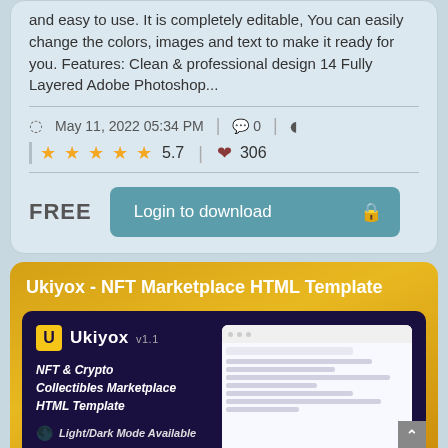and easy to use. It is completely editable, You can easily change the colors, images and text to make it ready for you. Features: Clean & professional design 14 Fully Layered Adobe Photoshop...
May 11, 2022 05:34 PM  0
★★★★★ 5.7  ♥ 306
FREE   Login to download 🔒
Ukiyox - NFT Marketplace HTML Template
[Figure (screenshot): Screenshot of Ukiyox NFT Marketplace HTML Template preview showing dark purple background with Ukiyox v1.1 branding, NFT & Crypto Collectibles Marketplace HTML Template text, Light/Dark Mode Available, and a browser mockup showing the marketplace UI]